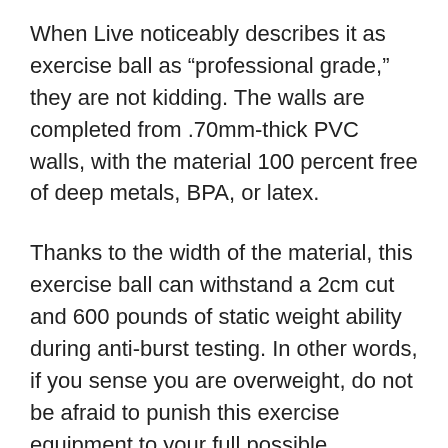When Live noticeably describes it as exercise ball as “professional grade,” they are not kidding. The walls are completed from .70mm-thick PVC walls, with the material 100 percent free of deep metals, BPA, or latex.
Thanks to the width of the material, this exercise ball can withstand a 2cm cut and 600 pounds of static weight ability during anti-burst testing. In other words, if you sense you are overweight, do not be afraid to punish this exercise equipment to your full possible.
The Live considerably exercise ball is a great workout option for older adults who desire to improve their balance and may be more prone to